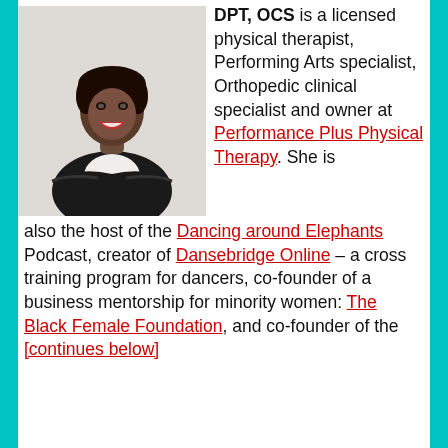[Figure (photo): Professional headshot of a Black woman in a black blazer and white top, arms crossed, smiling, against a light background.]
DPT, OCS is a licensed physical therapist, Performing Arts specialist, Orthopedic clinical specialist and owner at Performance Plus Physical Therapy. She is also the host of the Dancing around Elephants Podcast, creator of Dansebridge Online – a cross training program for dancers, co-founder of a business mentorship for minority women: The Black Female Foundation, and co-founder of the [continues]